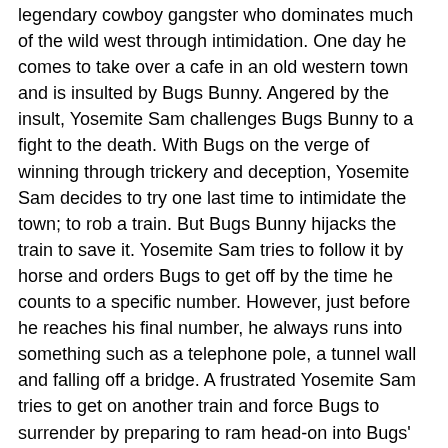legendary cowboy gangster who dominates much of the wild west through intimidation. One day he comes to take over a cafe in an old western town and is insulted by Bugs Bunny. Angered by the insult, Yosemite Sam challenges Bugs Bunny to a fight to the death. With Bugs on the verge of winning through trickery and deception, Yosemite Sam decides to try one last time to intimidate the town; to rob a train. But Bugs Bunny hijacks the train to save it. Yosemite Sam tries to follow it by horse and orders Bugs to get off by the time he counts to a specific number. However, just before he reaches his final number, he always runs into something such as a telephone pole, a tunnel wall and falling off a bridge. A frustrated Yosemite Sam tries to get on another train and force Bugs to surrender by preparing to ram head-on into Bugs' train. However, Bugs foils him by switching the railroad tracks causing Sam's train engine to crash hundreds of feet, into a gorge's river.
Alien: In Lighter Than Hare, Yosemite Sam of Outer Space is an alien from a foreign planet. Inside a flying saucer spaceship, Yosemite Sam reveals his mission to find an earth creature to take back to his planet for uses such as slaves, producing on